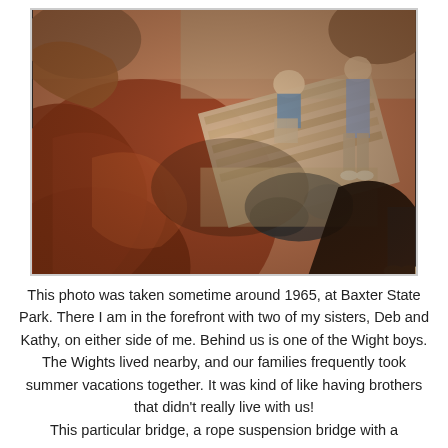[Figure (photo): A vintage photograph from around 1965 taken at Baxter State Park. Shows people on what appears to be a rope suspension bridge or wooden walkway. The image has warm reddish-brown tones typical of aged color photography from the 1960s. Figures are visible standing on a bridge/boardwalk structure with rocks and natural surroundings.]
This photo was taken sometime around 1965, at Baxter State Park. There I am in the forefront with two of my sisters, Deb and Kathy, on either side of me. Behind us is one of the Wight boys. The Wights lived nearby, and our families frequently took summer vacations together. It was kind of like having brothers that didn't really live with us! This particular bridge, a rope suspension bridge with a